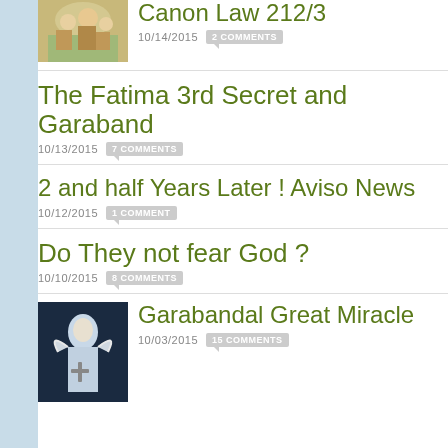[Figure (photo): Thumbnail image of a holy family religious painting]
Canon Law 212/3
10/14/2015  2 COMMENTS
The Fatima 3rd Secret and Garaband
10/13/2015  7 COMMENTS
2 and half Years Later ! Aviso News
10/12/2015  1 COMMENT
Do They not fear God ?
10/10/2015  8 COMMENTS
[Figure (photo): Thumbnail image of an angel/religious figure on dark blue background]
Garabandal Great Miracle
10/03/2015  15 COMMENTS